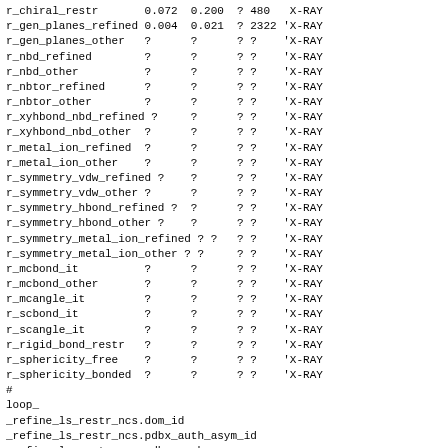r_chiral_restr       0.072  0.200  ? 480   X-RAY
r_gen_planes_refined 0.004  0.021  ? 2322 'X-RAY
r_gen_planes_other   ?      ?      ? ?    'X-RAY
r_nbd_refined        ?      ?      ? ?    'X-RAY
r_nbd_other          ?      ?      ? ?    'X-RAY
r_nbtor_refined      ?      ?      ? ?    'X-RAY
r_nbtor_other        ?      ?      ? ?    'X-RAY
r_xyhbond_nbd_refined ?     ?      ? ?    'X-RAY
r_xyhbond_nbd_other  ?      ?      ? ?    'X-RAY
r_metal_ion_refined  ?      ?      ? ?    'X-RAY
r_metal_ion_other    ?      ?      ? ?    'X-RAY
r_symmetry_vdw_refined ?    ?      ? ?    'X-RAY
r_symmetry_vdw_other ?     ?      ? ?    'X-RAY
r_symmetry_hbond_refined ?  ?      ? ?    'X-RAY
r_symmetry_hbond_other ? ?         ? ?    'X-RAY
r_symmetry_metal_ion_refined ? ?   ? ?    'X-RAY
r_symmetry_metal_ion_other ? ?    ? ?    'X-RAY
r_mcbond_it          ?      ?      ? ?    'X-RAY
r_mcbond_other       ?      ?      ? ?    'X-RAY
r_mcangle_it         ?      ?      ? ?    'X-RAY
r_scbond_it          ?      ?      ? ?    'X-RAY
r_scangle_it         ?      ?      ? ?    'X-RAY
r_rigid_bond_restr   ?      ?      ? ?    'X-RAY
r_sphericity_free    ?      ?      ? ?    'X-RAY
r_sphericity_bonded  ?      ?      ? ?    'X-RAY
#
loop_
_refine_ls_restr_ncs.dom_id
_refine_ls_restr_ncs.pdbx_auth_asym_id
_refine_ls_restr_ncs.pdbx_number
_refine_ls_restr_ncs.pdbx_rms_positio